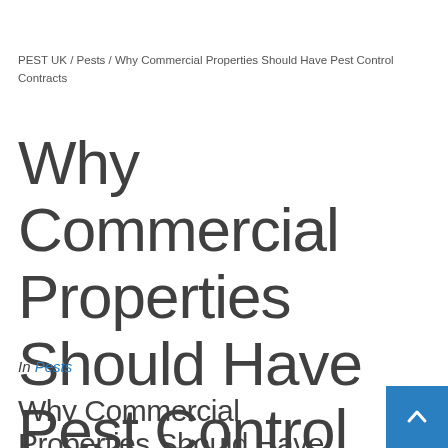PEST UK / Pests / Why Commercial Properties Should Have Pest Control Contracts
Why Commercial Properties Should Have Pest Control Contracts
In Pests
Why Commercial Properties Should Have Pest Control Contracts